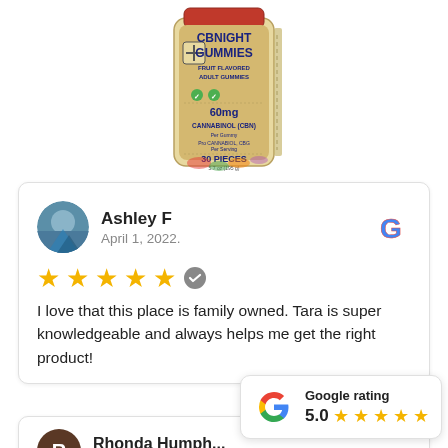[Figure (photo): Product photo of CBNight Gummies bottle — fruit flavored adult gummies, 60mg Cannabinol (CBN), 30 pieces]
Ashley F
April 1, 2022.
★★★★★
I love that this place is family owned. Tara is super knowledgeable and always helps me get the right product!
[Figure (logo): Google rating badge showing 5.0 with 5 gold stars]
Rhonda Humph...
April 1, 2022.